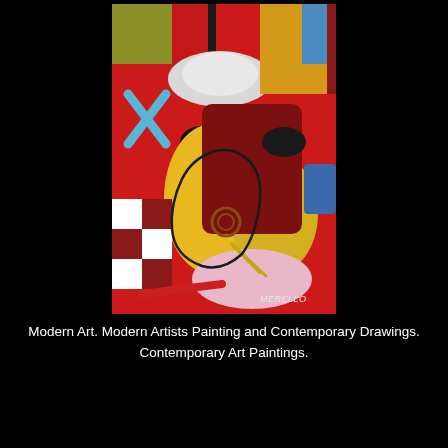[Figure (illustration): An abstract, expressionist painting by Merello depicting colorful figures in bold brushstrokes. The composition features a large yellow-orange figure in the center with dark sunglasses, wearing a white hat. Background includes red, gold, olive green, blue, and maroon colors with checkerboard patterns on the left side. The artist's signature 'MERELLO' appears in the lower right corner.]
Modern Art. Modern Artists Painting and Contemporary Drawings. Contemporary Art Paintings.